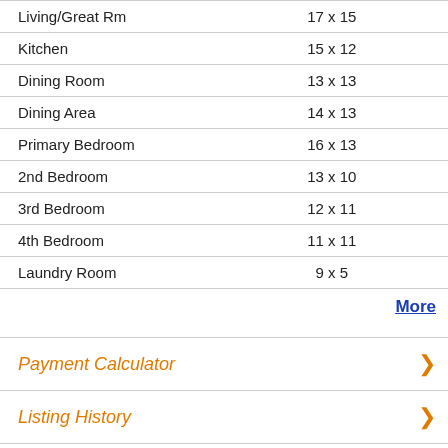| Room | Dimensions |
| --- | --- |
| Living/Great Rm | 17 x 15 |
| Kitchen | 15 x 12 |
| Dining Room | 13 x 13 |
| Dining Area | 14 x 13 |
| Primary Bedroom | 16 x 13 |
| 2nd Bedroom | 13 x 10 |
| 3rd Bedroom | 12 x 11 |
| 4th Bedroom | 11 x 11 |
| Laundry Room | 9 x 5 |
More
Payment Calculator
Listing History
Similar properties nearby: